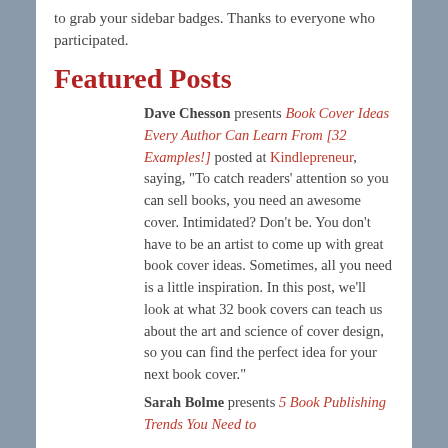to grab your sidebar badges. Thanks to everyone who participated.
Featured Posts
Dave Chesson presents Book Cover Ideas Every Author Can Learn From [32 Examples!] posted at Kindlepreneur, saying, “To catch readers’ attention so you can sell books, you need an awesome cover. Intimidated? Don’t be. You don’t have to be an artist to come up with great book cover ideas. Sometimes, all you need is a little inspiration. In this post, we’ll look at what 32 book covers can teach us about the art and science of cover design, so you can find the perfect idea for your next book cover.”
Sarah Bolme presents 5 Book Publishing Trends You Need to